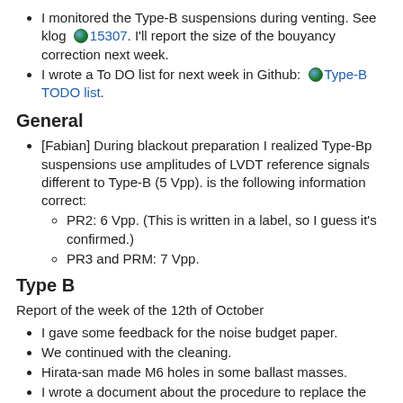I monitored the Type-B suspensions during venting. See klog 15307. I'll report the size of the bouyancy correction next week.
I wrote a To DO list for next week in Github: Type-B TODO list.
General
[Fabian] During blackout preparation I realized Type-Bp suspensions use amplitudes of LVDT reference signals different to Type-B (5 Vpp). is the following information correct:
PR2: 6 Vpp. (This is written in a label, so I guess it's confirmed.)
PR3 and PRM: 7 Vpp.
Type B
Report of the week of the 12th of October
I gave some feedback for the noise budget paper.
We continued with the cleaning.
Hirata-san made M6 holes in some ballast masses.
I wrote a document about the procedure to replace the LVDT cards after a failure: JGW-T2012128